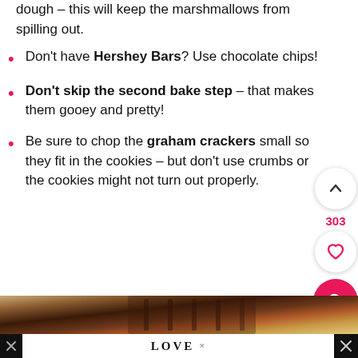dough – this will keep the marshmallows from spilling out.
Don't have Hershey Bars? Use chocolate chips!
Don't skip the second bake step – that makes them gooey and pretty!
Be sure to chop the graham crackers small so they fit in the cookies – but don't use crumbs or the cookies might not turn out properly.
[Figure (photo): Close-up photo of chocolate bars and s'mores ingredients on a surface]
[Figure (illustration): LOVE decorative advertisement banner at bottom of page]